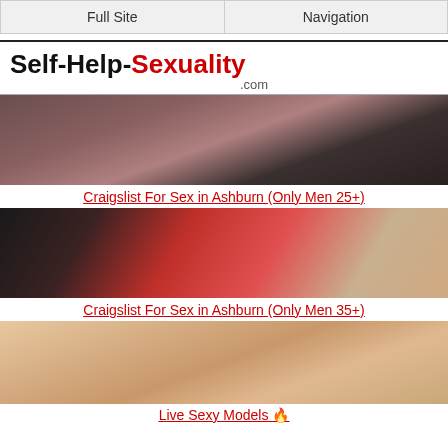Full Site | Navigation
Self-Help-Sexuality.com
[Figure (photo): Photo of a woman with dark hair and glasses lying down on a bed]
Craigslist For Sex in Ashburn (Only Men 25+)
[Figure (photo): Photo showing a woman in a red outfit from behind]
Craigslist For Sex in Ashburn (Only Men 35+)
[Figure (photo): Close-up photo of hands with dark nail polish]
Live Sexy Models 🔥